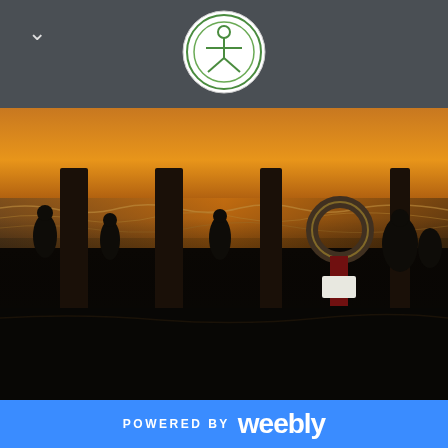Navigation bar with logo and chevron
[Figure (photo): Silhouetted figures and pillars at a pier/waterfront at sunset. Orange-golden sky visible through the pillars with ocean waves. A life ring/lifebuoy is visible on the right side. Dark foreground with people and structures in silhouette.]
POWERED BY weebly